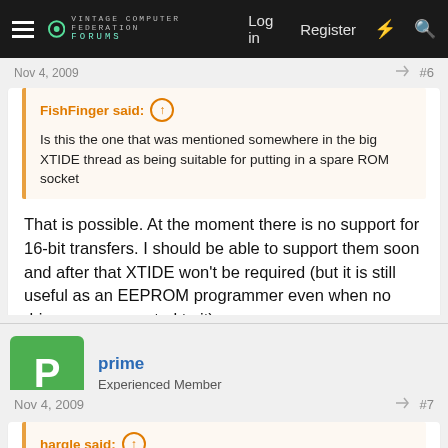Log in   Register
Nov 4, 2009   #6
FishFinger said: ↑
Is this the one that was mentioned somewhere in the big XTIDE thread as being suitable for putting in a spare ROM socket
That is possible. At the moment there is no support for 16-bit transfers. I should be able to support them soon and after that XTIDE won't be required (but it is still useful as an EEPROM programmer even when no drives are connected to it).
prime
Experienced Member
Nov 4, 2009   #7
hargle said: ↑
Most excellent work!